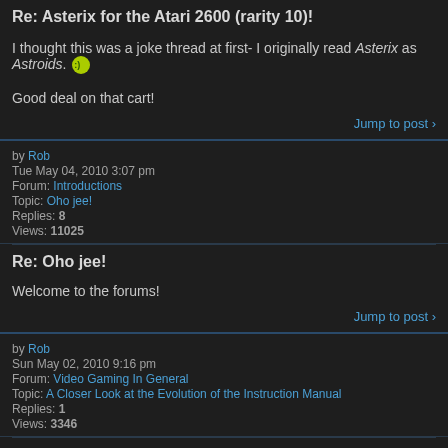Re: Asterix for the Atari 2600 (rarity 10)!
I thought this was a joke thread at first- I originally read Asterix as Astroids. :) 

Good deal on that cart!
Jump to post
by Rob
Tue May 04, 2010 3:07 pm
Forum: Introductions
Topic: Oho jee!
Replies: 8
Views: 11025
Re: Oho jee!
Welcome to the forums!
Jump to post
by Rob
Sun May 02, 2010 9:16 pm
Forum: Video Gaming In General
Topic: A Closer Look at the Evolution of the Instruction Manual
Replies: 1
Views: 3346
Re: A Closer Look at the Evolution of the Instruction Manual
Yes, great read. You know, some of those early games are damned near